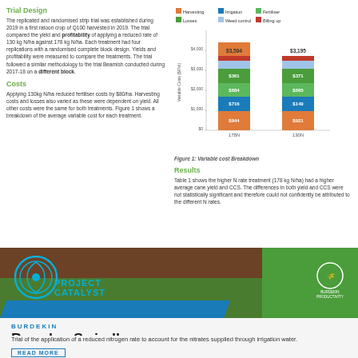Trial Design
The replicated and randomised strip trial was established during 2019 in a first ratoon crop of Q100 harvested in 2019. The trial compared the yield and profitability of applying a reduced rate of 130 kg N/ha against 178 kg N/ha. Each treatment had four replications with a randomised complete block design. Yields and profitability were measured to compare the treatments. The trial followed a similar methodology to the trial Beamish conducted during 2017-18 on a different block.
Costs
Applying 130kg N/ha reduced fertiliser costs by $80/ha. Harvesting costs and losses also varied as these were dependent on yield. All other costs were the same for both treatments. Figure 1 shows a breakdown of the average variable cost for each treatment.
[Figure (stacked-bar-chart): Variable cost Breakdown]
Figure 1: Variable cost Breakdown
Results
Table 1 shows the higher N rate treatment (178 kg N/ha) had a higher average cane yield and CCS. The differences in both yield and CCS were not statistically significant and therefore could not confidently be attributed to the different N rates.
[Figure (photo): Banner image showing sugarcane field with Project Catalyst logo and Burdekin Productivity Services logo]
BURDEKIN
Brendan Swindley
Trial of the application of a reduced nitrogen rate to account for the nitrates supplied through irrigation water.
READ MORE